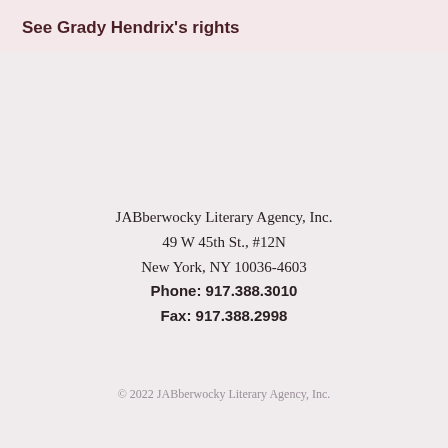See Grady Hendrix's rights
JABberwocky Literary Agency, Inc.
49 W 45th St., #12N
New York, NY 10036-4603
Phone: 917.388.3010
Fax: 917.388.2998
© 2022 JABberwocky Literary Agency, Inc.